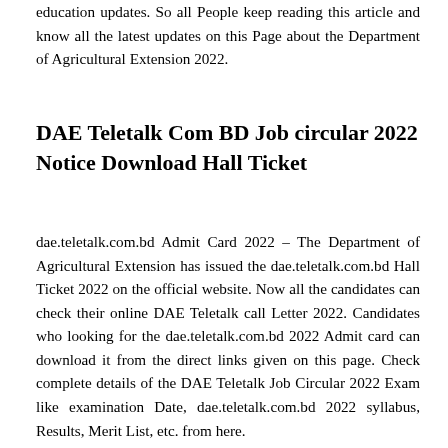education updates. So all People keep reading this article and know all the latest updates on this Page about the Department of Agricultural Extension 2022.
DAE Teletalk Com BD Job circular 2022 Notice Download Hall Ticket
dae.teletalk.com.bd Admit Card 2022 – The Department of Agricultural Extension has issued the dae.teletalk.com.bd Hall Ticket 2022 on the official website. Now all the candidates can check their online DAE Teletalk call Letter 2022. Candidates who looking for the dae.teletalk.com.bd 2022 Admit card can download it from the direct links given on this page. Check complete details of the DAE Teletalk Job Circular 2022 Exam like examination Date, dae.teletalk.com.bd 2022 syllabus, Results, Merit List, etc. from here.